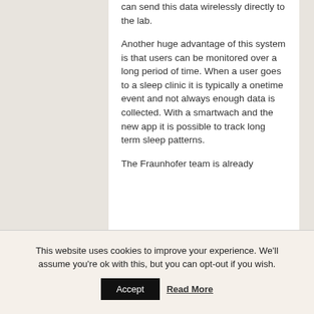can send this data wirelessly directly to the lab.
Another huge advantage of this system is that users can be monitored over a long period of time. When a user goes to a sleep clinic it is typically a onetime event and not always enough data is collected. With a smartwach and the new app it is possible to track long term sleep patterns.
The Fraunhofer team is already
This website uses cookies to improve your experience. We'll assume you're ok with this, but you can opt-out if you wish.
Accept
Read More